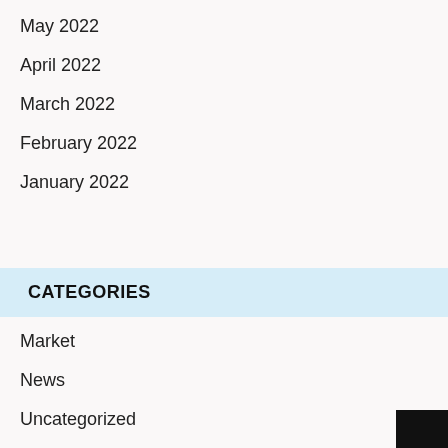May 2022
April 2022
March 2022
February 2022
January 2022
CATEGORIES
Market
News
Uncategorized